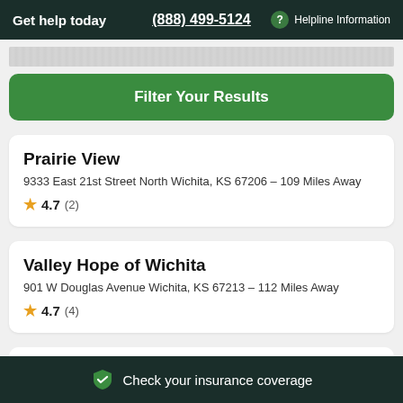Get help today  (888) 499-5124  Helpline Information
Filter Your Results
Prairie View
9333 East 21st Street North Wichita, KS 67206 – 109 Miles Away
★ 4.7 (2)
Valley Hope of Wichita
901 W Douglas Avenue Wichita, KS 67213 – 112 Miles Away
★ 4.7 (4)
Check your insurance coverage